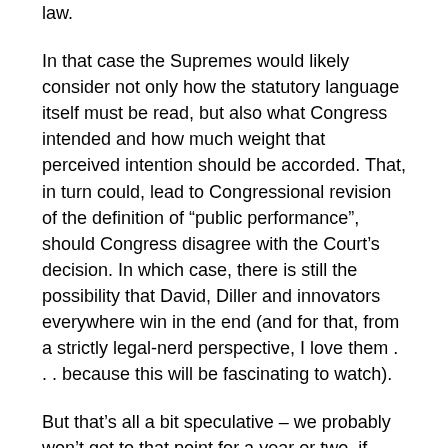law.
In that case the Supremes would likely consider not only how the statutory language itself must be read, but also what Congress intended and how much weight that perceived intention should be accorded. That, in turn could, lead to Congressional revision of the definition of “public performance”, should Congress disagree with the Court’s decision. In which case, there is still the possibility that David, Diller and innovators everywhere win in the end (and for that, from a strictly legal-nerd perspective, I love them . . . because this will be fascinating to watch).
But that’s all a bit speculative – we probably won’t get to that point for a year or two, if ever.
In the meantime, the situation will have to remain geographically muddled. In the Second Circuit, Aereo may still operate its service (although the legal momentum Aereo had been enjoying may be diminished some thanks to Judge Wu’s contrary analysis). But in the Ninth Circuit, Aereokiller –